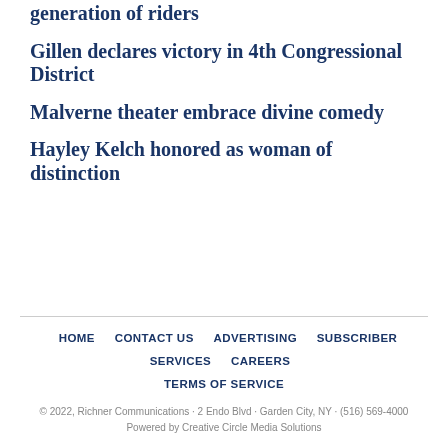generation of riders
Gillen declares victory in 4th Congressional District
Malverne theater embrace divine comedy
Hayley Kelch honored as woman of distinction
HOME · CONTACT US · ADVERTISING · SUBSCRIBER SERVICES · CAREERS · TERMS OF SERVICE
© 2022, Richner Communications · 2 Endo Blvd · Garden City, NY · (516) 569-4000
Powered by Creative Circle Media Solutions